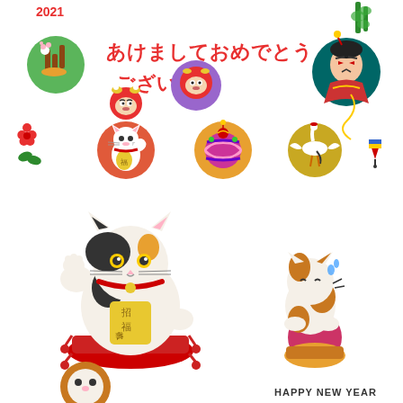[Figure (illustration): Japanese New Year greeting card 2021 with traditional icons: kadomatsu, daruma dolls, maneki-neko, temari ball, crane, kite, kabuki figure, bamboo, plum blossoms, spinning top, and Japanese text reading あけましておめでとうございます (Happy New Year). Bottom section shows large maneki-neko (lucky cat) on red cushion, a cat pounding mochi, and 'HAPPY NEW YEAR' text.]